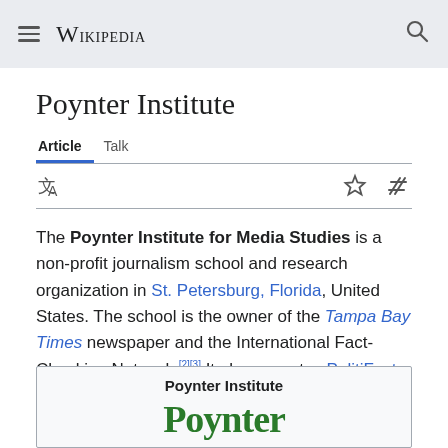Wikipedia
Poynter Institute
Article  Talk
The Poynter Institute for Media Studies is a non-profit journalism school and research organization in St. Petersburg, Florida, United States. The school is the owner of the Tampa Bay Times newspaper and the International Fact-Checking Network.[2][3] It also operates PolitiFact.[4]
[Figure (infographic): Infobox for Poynter Institute showing the name 'Poynter Institute' as a header and the beginning of the organization's logo text in green serif font.]